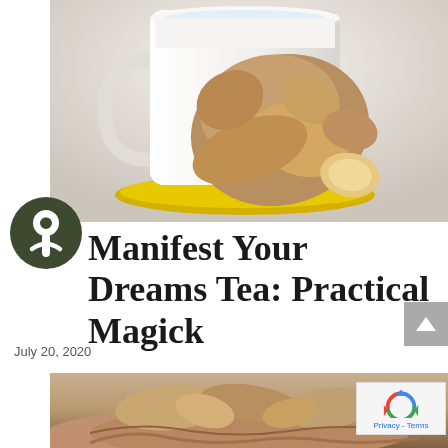[Figure (photo): White ceramic mug on a yellow saucer with ginger root pieces leaning against and around the mug, on a light grey background]
Manifest Your Dreams Tea: Practical Magick
July 20, 2020
[Figure (photo): Hands holding a piece of ginger root, close-up view]